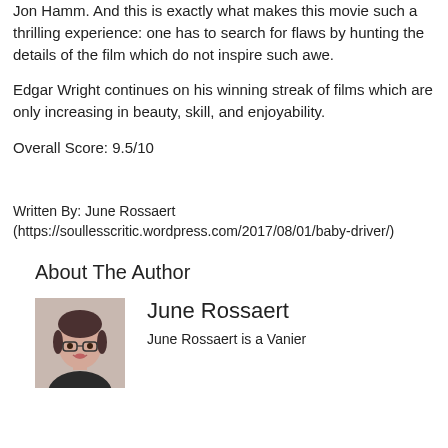Jon Hamm. And this is exactly what makes this movie such a thrilling experience: one has to search for flaws by hunting the details of the film which do not inspire such awe.
Edgar Wright continues on his winning streak of films which are only increasing in beauty, skill, and enjoyability.
Overall Score: 9.5/10
Written By: June Rossaert (https://soullesscritic.wordpress.com/2017/08/01/baby-driver/)
About The Author
[Figure (photo): Photo of June Rossaert, a young woman with glasses and dark hair, smiling, wearing a dark jacket]
June Rossaert
June Rossaert is a Vanier